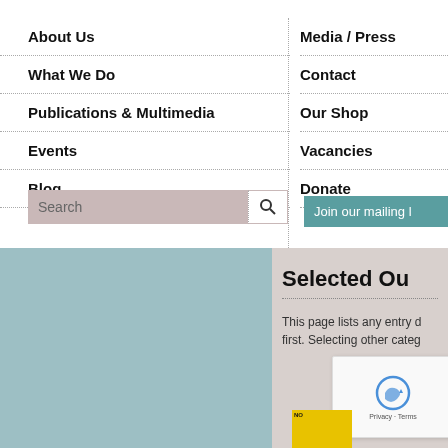About Us
What We Do
Publications & Multimedia
Events
Blog
Media / Press
Contact
Our Shop
Vacancies
Donate
Search
Join our mailing l…
Selected Ou…
This page lists any entry d… first. Selecting other categ…